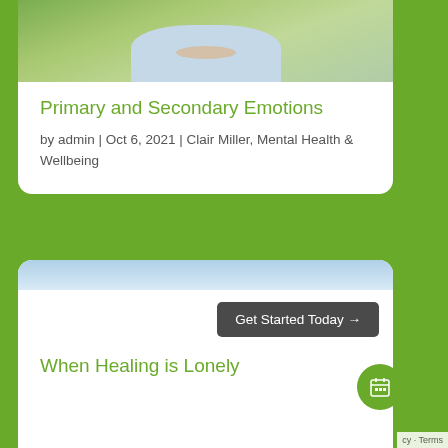[Figure (photo): Photo of a person outdoors in nature, wearing a light blue top, with green foliage in background]
Primary and Secondary Emotions
by admin | Oct 6, 2021 | Clair Miller, Mental Health & Wellbeing
[Figure (photo): Partial photo visible at top of second card, appears to be a light blue image]
Get Started Today →
When Healing is Lonely